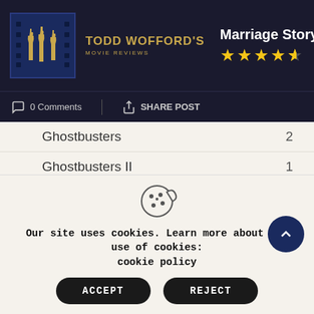TODD WOFFORD'S MOVIE REVIEWS — Marriage Story (2019) ★★★★½ — 0 Comments | SHARE POST
| Category | Count |
| --- | --- |
| Ghostbusters | 2 |
| Ghostbusters II | 1 |
| Greatest | 33 |
| Honey We Shrunk Ourselves | 1 |
| Horror | 1 |
| Jeremy Renner | 1 |
| John Carpenter | 1 |
[Figure (infographic): Cookie consent overlay with cookie icon, text 'Our site uses cookies. Learn more about our use of cookies: cookie policy', and ACCEPT / REJECT buttons.]